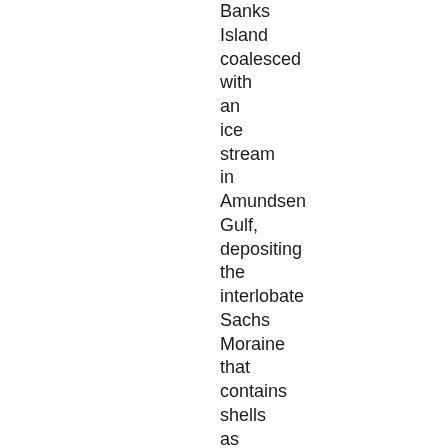Banks Island coalesced with an ice stream in Amundsen Gulf, depositing the interlobate Sachs Moraine that contains shells as young as ~24